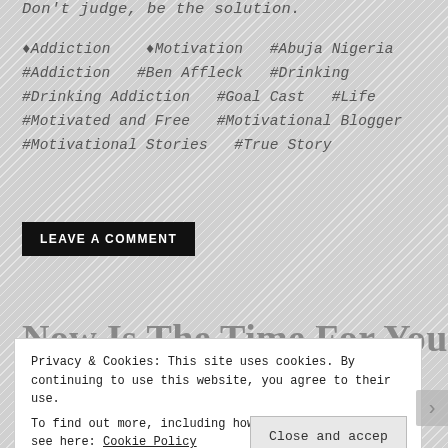Don't judge, be the solution.
♦Addiction  ♦Motivation  #Abuja Nigeria  #Addiction  #Ben Affleck  #Drinking  #Drinking Addiction  #Goal Cast  #Life  #Motivated and Free  #Motivational Blogger  #Motivational Stories  #True Story
LEAVE A COMMENT
Now Is The Time For You To
Privacy & Cookies: This site uses cookies. By continuing to use this website, you agree to their use.
To find out more, including how to control cookies, see here: Cookie Policy
Close and accep